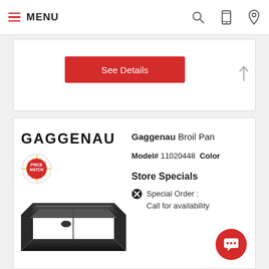MENU
[Figure (screenshot): See Details button (red)]
[Figure (logo): GAGGENAU brand logo]
[Figure (illustration): Price Match badge circular logo]
[Figure (photo): Gaggenau Broil Pan product image - dark rectangular broil pan]
Gaggenau Broil Pan
Model# 11020448  Color
Store Specials
Special Order : Call for availability